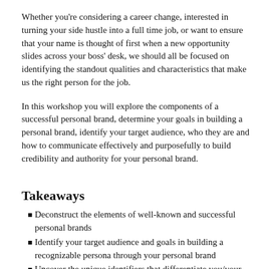Whether you're considering a career change, interested in turning your side hustle into a full time job, or want to ensure that your name is thought of first when a new opportunity slides across your boss' desk, we should all be focused on identifying the standout qualities and characteristics that make us the right person for the job.
In this workshop you will explore the components of a successful personal brand, determine your goals in building a personal brand, identify your target audience, who they are and how to communicate effectively and purposefully to build credibility and authority for your personal brand.
Takeaways
Deconstruct the elements of well-known and successful personal brands
Identify your target audience and goals in building a recognizable persona through your personal brand
Uncover the unique identifiers that differentiate you/your